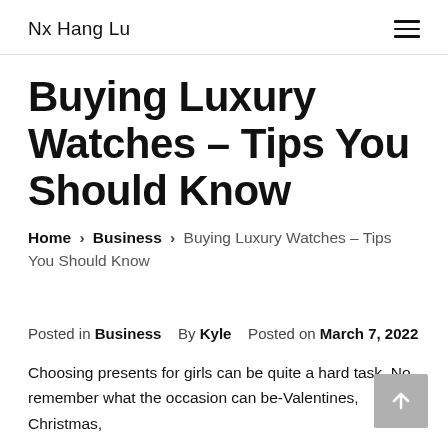Nx Hang Lu
Buying Luxury Watches – Tips You Should Know
Home › Business › Buying Luxury Watches – Tips You Should Know
Posted in Business   By Kyle   Posted on March 7, 2022
Choosing presents for girls can be quite a hard task. No remember what the occasion can be-Valentines, Christmas,